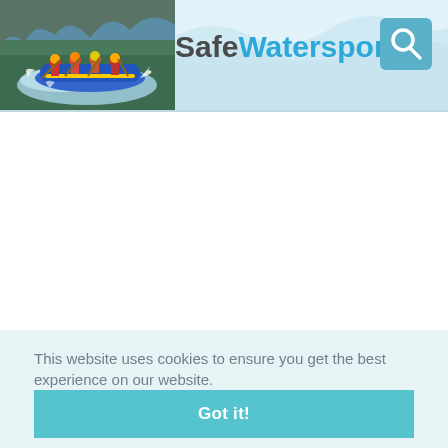[Figure (screenshot): SafeWatersports website header with rafting photo on left, 'Safe Watersports' logo text in center, and teal search icon on right against a light blue wave background]
This website uses cookies to ensure you get the best experience on our website.
Cookie Policy
Got it!